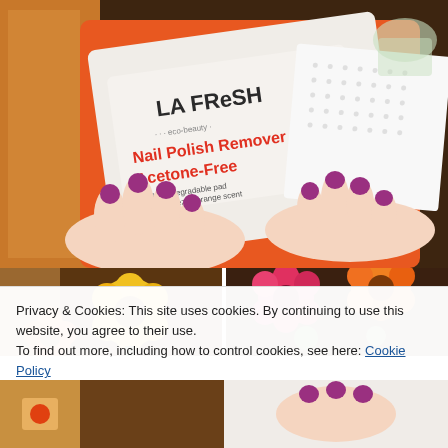[Figure (photo): Hands with purple nail polish holding a La Fresh Nail Polish Remover Acetone-Free single-use biodegradable pad packet (orange packaging) and a white textured cloth wipe. Background shows cardboard box and glass jar on dark wood surface.]
[Figure (photo): Two partial photos side by side showing yellow and orange flowers with green foliage on left (brown cardboard box visible), and pink/orange flowers on right.]
Privacy & Cookies: This site uses cookies. By continuing to use this website, you agree to their use.
To find out more, including how to control cookies, see here: Cookie Policy
Close and accept
[Figure (photo): Two partial photos at the bottom of the page, partially obscured by the cookie banner.]